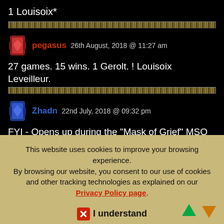1 Louisoix*
pegasus 26th August, 2018 @ 11:27 am
27 games. 15 wins. 1 Gerolt. ! Louisoix Leveilleur.
Zhadn 22nd July, 2018 @ 09:32 pm
FYI - Opens up during the "Mask of Grief" MSQ
This website uses cookies to improve your browsing experience. By browsing our website, you consent to our use of cookies and other tracking technologies as explained on our Privacy Policy page.
I understand